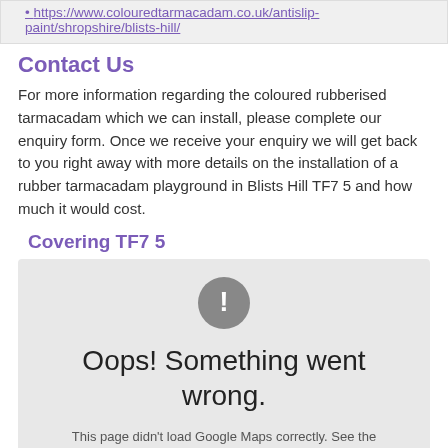https://www.colouredtarmacadam.co.uk/antislip-paint/shropshire/blists-hill/
Contact Us
For more information regarding the coloured rubberised tarmacadam which we can install, please complete our enquiry form. Once we receive your enquiry we will get back to you right away with more details on the installation of a rubber tarmacadam playground in Blists Hill TF7 5 and how much it would cost.
Covering TF7 5
[Figure (screenshot): Google Maps error widget showing a grey circle with exclamation mark, text 'Oops! Something went wrong.' and 'This page didn't load Google Maps correctly. See the JavaScript console for technical details.']